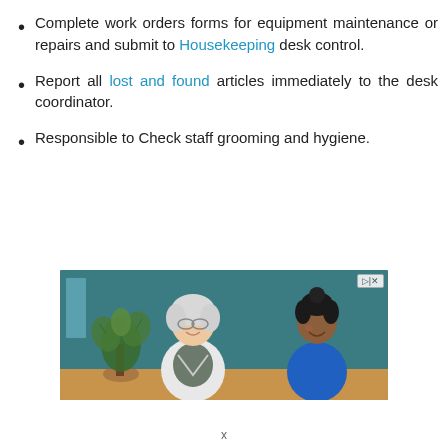Complete work orders forms for equipment maintenance or repairs and submit to Housekeeping desk control.
Report all lost and found articles immediately to the desk coordinator.
Responsible to Check staff grooming and hygiene.
[Figure (photo): Two women sitting together and smiling — an older woman with white hair in a white cardigan and a younger woman in a blue top, with a plant in the foreground and a teal wall background. An ad badge is visible in the top right corner.]
x